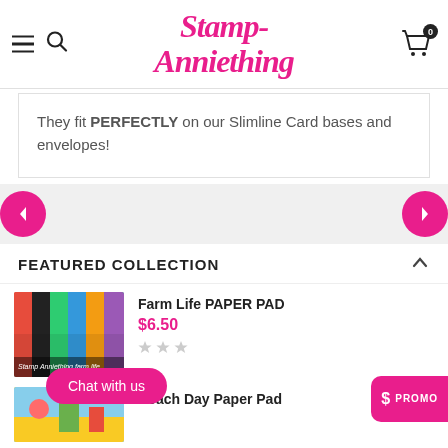Stamp Anniething
They fit PERFECTLY on our Slimline Card bases and envelopes!
FEATURED COLLECTION
Farm Life PAPER PAD
$6.50
Beach Day Paper Pad